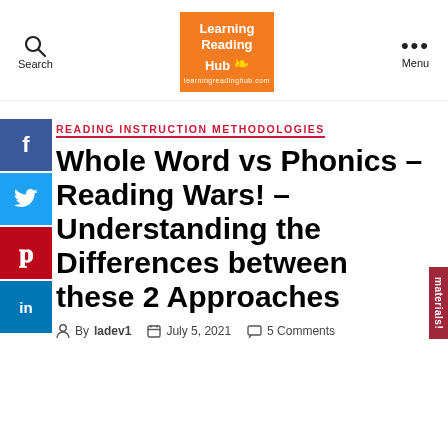Search | Learning Reading Hub | Menu
READING INSTRUCTION METHODOLOGIES
Whole Word vs Phonics – Reading Wars! – Understanding the Differences between these 2 Approaches
By ladev1   July 5, 2021   5 Comments